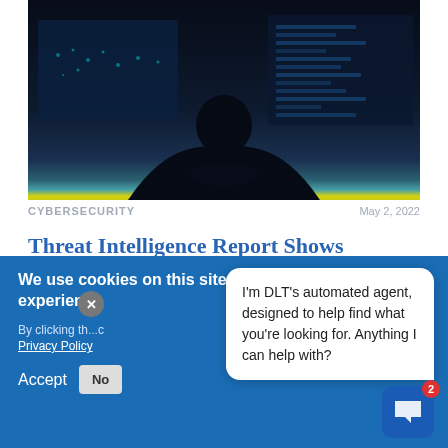[Figure (photo): Dark silhouette of a person sitting in front of large monitors displaying world maps and code/data screens in a dark cybersecurity-themed setting with blue and teal lighting.]
CYBERSECURITY    May 2, 2022
Threat Intelligence Report Shows Massive Uptick in DDoS Attacks
Threat Intelligence Report Shows
We use cookies on this site to enhance your user experience
By clicking th… Privacy Policy
Accept    No
I'm DLT's automated agent, designed to help find what you're looking for. Anything I can help with?